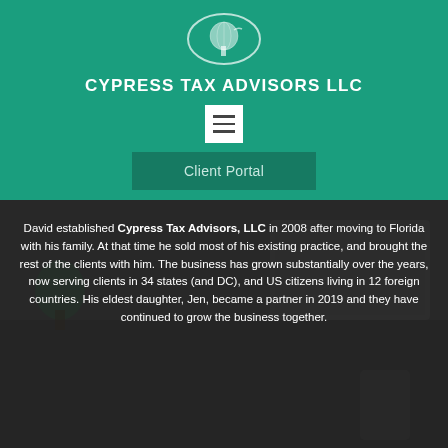[Figure (logo): Cypress Tax Advisors LLC oval logo with tree and globe illustration in white outline on teal background]
CYPRESS TAX ADVISORS LLC
[Figure (other): Hamburger menu icon — three horizontal lines on white square background]
Client Portal
David established Cypress Tax Advisors, LLC in 2008 after moving to Florida with his family. At that time he sold most of his existing practice, and brought the rest of the clients with him. The business has grown substantially over the years, now serving clients in 34 states (and DC), and US citizens living in 12 foreign countries. His eldest daughter, Jen, became a partner in 2019 and they have continued to grow the business together.